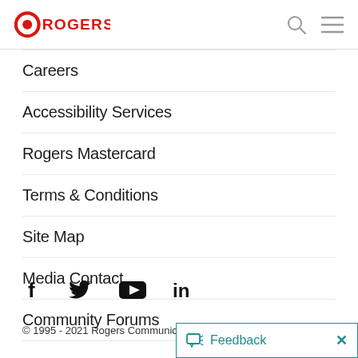Rogers logo with search and menu icons
Careers
Accessibility Services
Rogers Mastercard
Terms & Conditions
Site Map
Media Contact
Community Forums
[Figure (other): Social media icons: Facebook, Twitter, YouTube, LinkedIn]
© 1995 - 2021 Rogers Communications
Feedback